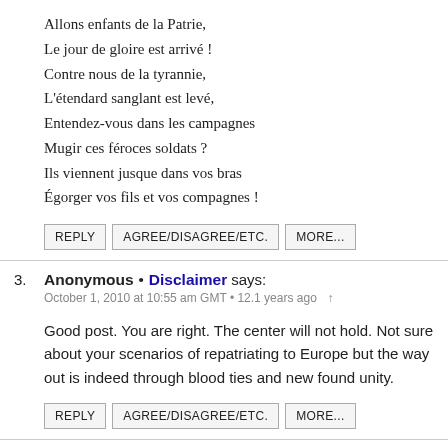Allons enfants de la Patrie,
Le jour de gloire est arrivé !
Contre nous de la tyrannie,
L'étendard sanglant est levé,
Entendez-vous dans les campagnes
Mugir ces féroces soldats ?
Ils viennent jusque dans vos bras
Égorger vos fils et vos compagnes !
REPLY | AGREE/DISAGREE/ETC. | MORE...
3. Anonymous • Disclaimer says:
October 1, 2010 at 10:55 am GMT • 12.1 years ago
Good post. You are right. The center will not hold. Not sure about your scenarios of repatriating to Europe but the way out is indeed through blood ties and new found unity.
REPLY | AGREE/DISAGREE/ETC. | MORE...
4.